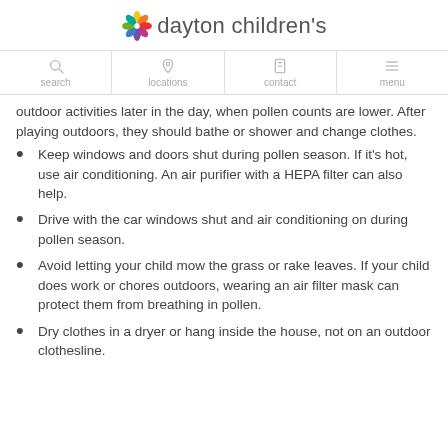dayton children's
outdoor activities later in the day, when pollen counts are lower. After playing outdoors, they should bathe or shower and change clothes.
Keep windows and doors shut during pollen season. If it's hot, use air conditioning. An air purifier with a HEPA filter can also help.
Drive with the car windows shut and air conditioning on during pollen season.
Avoid letting your child mow the grass or rake leaves. If your child does work or chores outdoors, wearing an air filter mask can protect them from breathing in pollen.
Dry clothes in a dryer or hang inside the house, not on an outdoor clothesline.